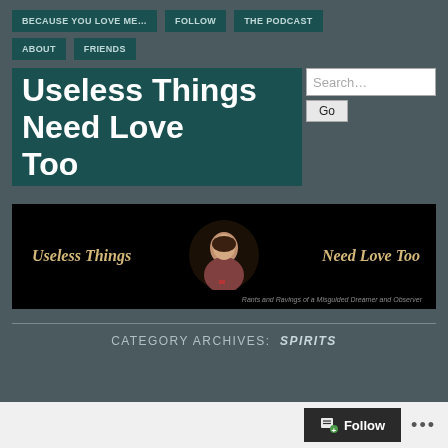BECAUSE YOU LOVE ME…  FOLLOW  THE PODCAST  ABOUT  FRIENDS
Useless Things Need Love Too
[Figure (photo): Blog banner image with text 'Useless Things Need Love Too' and a photo of a person, subtitle 'Rants and Ravings of a Misguided Dreamer and Observer']
CATEGORY ARCHIVES: SPIRITS
Follow  ...